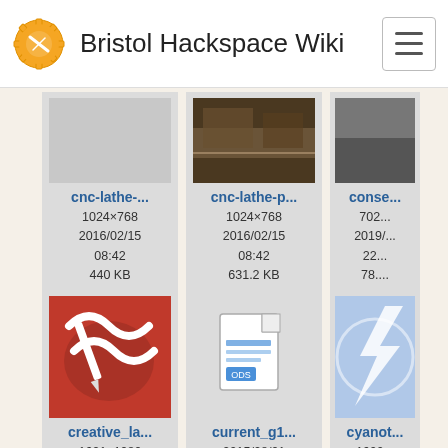Bristol Hackspace Wiki
[Figure (screenshot): File grid showing wiki media files: cnc-lathe-... (1024×768, 2016/02/15 08:42, 440 KB), cnc-lathe-p... (1024×768, 2016/02/15 08:42, 631.2 KB), conse... (partially visible, 702..., 2019/..., 22..., 78...), creative_la... (1621×1080, 2016/12/13 22:56, 321 KB), current_g1... (2015/08/01 17:12, 65.1 KB), cyanot... (partially visible, 1600..., 2017/..., 17..., 2.4...)]